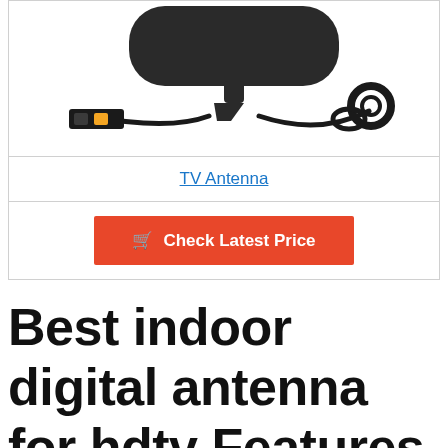[Figure (photo): TV antenna product photo showing a flat black indoor antenna with amplifier and coaxial cable]
TV Antenna
Check Latest Price
Best indoor digital antenna for hdtv Features In 2022
BESTSELLER NO. 1
SALE